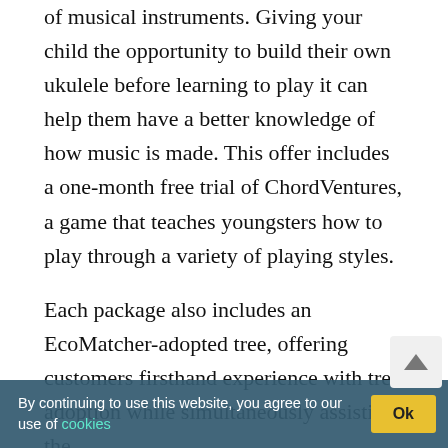youngster to learn about the science and assembly of musical instruments. Giving your child the opportunity to build their own ukulele before learning to play it can help them have a better knowledge of how music is made. This offer includes a one-month free trial of ChordVentures, a game that teaches youngsters how to play through a variety of playing styles.
Each package also includes an EcoMatcher-adopted tree, offering customers firsthand experience with tree adoption while simultaneously assisting the [cookies] against climate change. This is the present that never stops giving. For $69.99, you can get The Chord Hero Maker Ukulele Set with 1-Month ChordVentures App Access. The Maker Ukulele Set
By continuing to use this website, you agree to our use of cookies